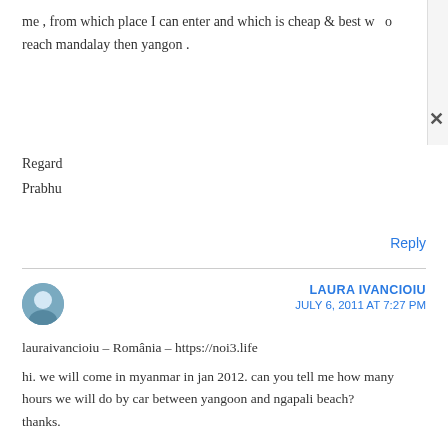me , from which place I can enter and which is cheap & best w... o reach mandalay then yangon .
Regard
Prabhu
Reply
LAURA IVANCIOIU
JULY 6, 2011 AT 7:27 PM
lauraivancioiu – România – https://noi3.life
hi. we will come in myanmar in jan 2012. can you tell me how many hours we will do by car between yangoon and ngapali beach? thanks.